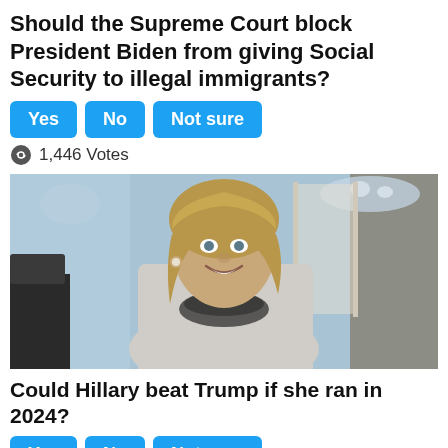Should the Supreme Court block President Biden from giving Social Security to illegal immigrants?
Yes | No | Not sure
1,446 Votes
[Figure (photo): Photo of Hillary Clinton smiling in a formal setting, wearing a white/grey tweed jacket and pearl necklace, with a blue interior background.]
Could Hillary beat Trump if she ran in 2024?
Yes | No | Not sure